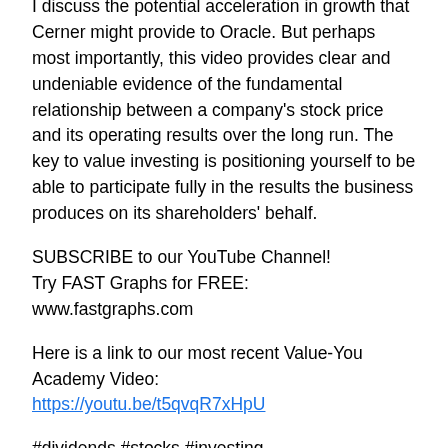I discuss the potential acceleration in growth that Cerner might provide to Oracle. But perhaps most importantly, this video provides clear and undeniable evidence of the fundamental relationship between a company's stock price and its operating results over the long run. The key to value investing is positioning yourself to be able to participate fully in the results the business produces on its shareholders' behalf.
SUBSCRIBE to our YouTube Channel!
Try FAST Graphs for FREE:
www.fastgraphs.com
Here is a link to our most recent Value-You Academy Video:
https://youtu.be/t5qvqR7xHpU
#dividends #stocks #investing